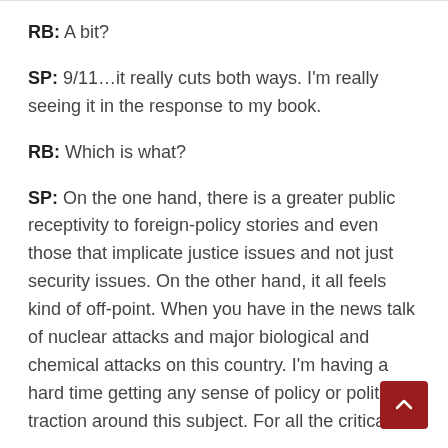RB: A bit?
SP: 9/11…it really cuts both ways. I'm really seeing it in the response to my book.
RB: Which is what?
SP: On the one hand, there is a greater public receptivity to foreign-policy stories and even those that implicate justice issues and not just security issues. On the other hand, it all feels kind of off-point. When you have in the news talk of nuclear attacks and major biological and chemical attacks on this country. I'm having a hard time getting any sense of policy or political traction around this subject. For all the critical